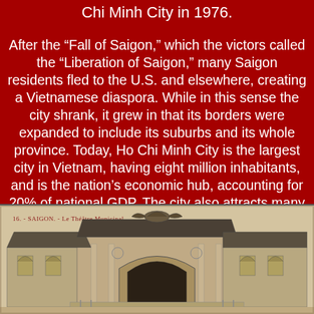Chi Minh City in 1976.
After the “Fall of Saigon,” which the victors called the “Liberation of Saigon,” many Saigon residents fled to the U.S. and elsewhere, creating a Vietnamese diaspora. While in this sense the city shrank, it grew in that its borders were expanded to include its suburbs and its whole province. Today, Ho Chi Minh City is the largest city in Vietnam, having eight million inhabitants, and is the nation’s economic hub, accounting for 20% of national GDP. The city also attracts many tourists, especially to its French District, museums and its numerous cinemas.
[Figure (photo): Historic black and white postcard photograph of Saigon's Le Theatre Municipal (Municipal Theatre), a French colonial building with ornate facade, arched entrance, and decorative rooftop sculpture. Caption reads: 16. - SAIGON. - Le Theatre Municipal]